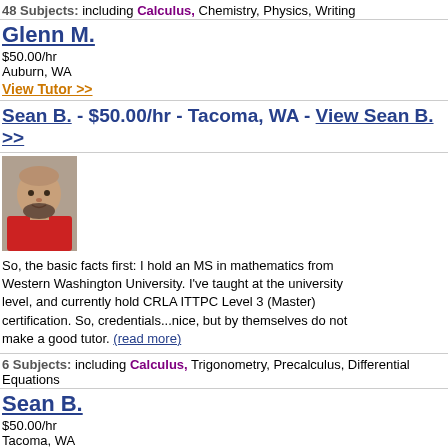48 Subjects: including Calculus, Chemistry, Physics, Writing
Glenn M.
$50.00/hr
Auburn, WA
View Tutor >>
Sean B. - $50.00/hr - Tacoma, WA - View Sean B. >>
[Figure (photo): Photo of tutor Sean B., a bald man with a beard wearing a red shirt]
So, the basic facts first: I hold an MS in mathematics from Western Washington University. I've taught at the university level, and currently hold CRLA ITTPC Level 3 (Master) certification. So, credentials...nice, but by themselves do not make a good tutor. (read more)
6 Subjects: including Calculus, Trigonometry, Precalculus, Differential Equations
Sean B.
$50.00/hr
Tacoma, WA
View Tutor >>
Jose Alberto A. - $35.00/hr - Puyallup, WA - View Jose...